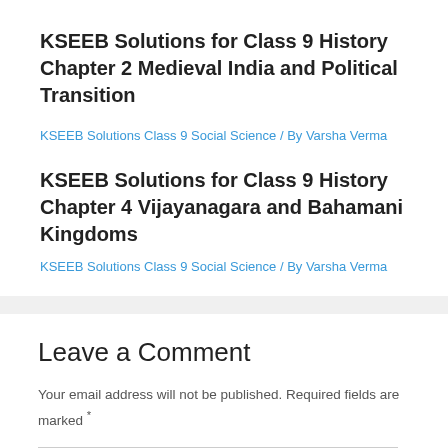KSEEB Solutions for Class 9 History Chapter 2 Medieval India and Political Transition
KSEEB Solutions Class 9 Social Science / By Varsha Verma
KSEEB Solutions for Class 9 History Chapter 4 Vijayanagara and Bahamani Kingdoms
KSEEB Solutions Class 9 Social Science / By Varsha Verma
Leave a Comment
Your email address will not be published. Required fields are marked *